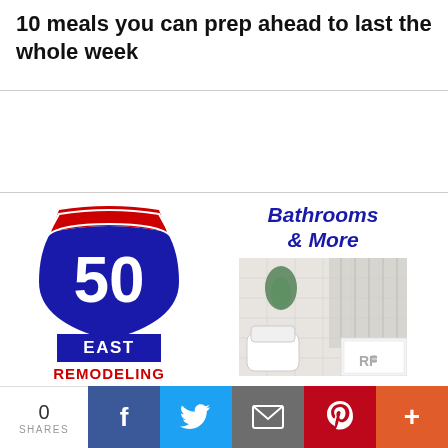10 meals you can prep ahead to last the whole week
[Figure (logo): 50 East Remodeling advertisement featuring an interstate highway shield logo with '50' in white on blue, 'EAST' on a blue badge, 'REMODELING' in red, alongside text 'Bathrooms & More' in bold italic blue, a bathroom photo, and phone number 410-500-2266]
0 SHARES | Facebook | Twitter | Email | Pinterest | More